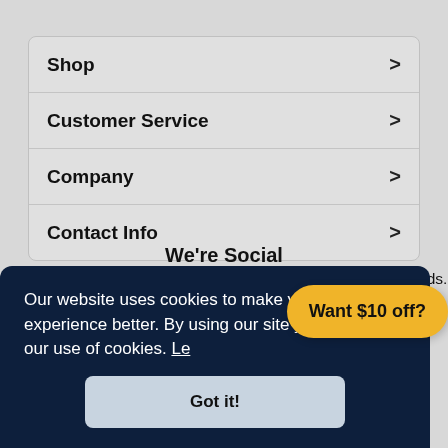Shop
Customer Service
Company
Contact Info
We're Social
Follow TackleDirect for exclusive giveaways featuring top brands.
Our website uses cookies to make your browsing experience better. By using our site you agree to our use of cookies. Le...
Got it!
Want $10 off?